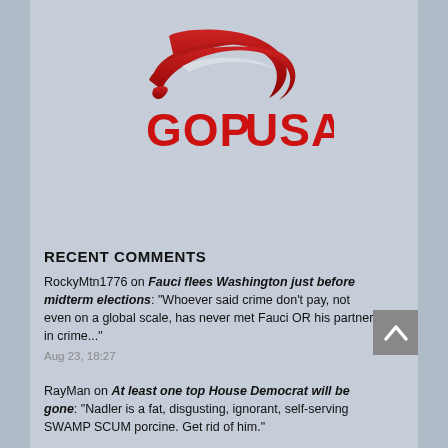[Figure (logo): GOPUSA logo: red eagle/swoosh graphic above bold red text reading GOP USA]
RECENT COMMENTS
RockyMtn1776 on Fauci flees Washington just before midterm elections: "Whoever said crime don't pay, not even on a global scale, has never met Fauci OR his partner in crime..."
Aug 23, 18:27
RayMan on At least one top House Democrat will be gone: "Nadler is a fat, disgusting, ignorant, self-serving SWAMP SCUM porcine. Get rid of him."